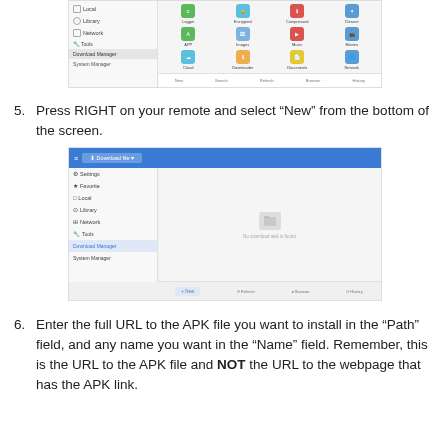[Figure (screenshot): Screenshot of a file manager app showing sidebar with Local, Library, Network, Tools, Download Manager, System Manager options and a grid of app icons including Logger, Encrypted, Compressed, Cleaner, APP, Images, Music, Movies, Cloud, Downloader, Documents, Network]
5. Press RIGHT on your remote and select “New” from the bottom of the screen.
[Figure (screenshot): Screenshot of Download file manager app with blue top bar, sidebar showing Settings, Favorite, Local, Library, Network, Tools, Download Manager, System Manager, and main area showing empty state with ‘No download task is found.’ message, with New button highlighted at bottom]
6. Enter the full URL to the APK file you want to install in the “Path” field, and any name you want in the “Name” field. Remember, this is the URL to the APK file and NOT the URL to the webpage that has the APK link.